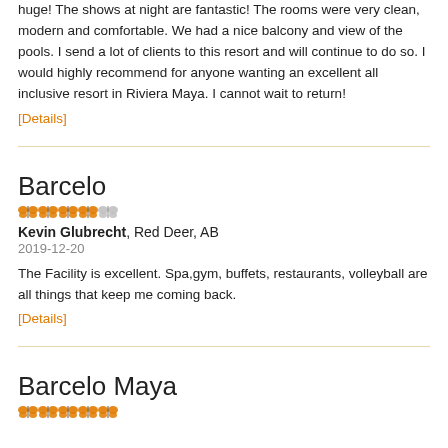huge! The shows at night are fantastic! The rooms were very clean, modern and comfortable. We had a nice balcony and view of the pools. I send a lot of clients to this resort and will continue to do so. I would highly recommend for anyone wanting an excellent all inclusive resort in Riviera Maya. I cannot wait to return!
[Details]
Barcelo
Kevin Glubrecht, Red Deer, AB
2019-12-20
The Facility is excellent. Spa,gym, buffets, restaurants, volleyball are all things that keep me coming back.
[Details]
Barcelo Maya